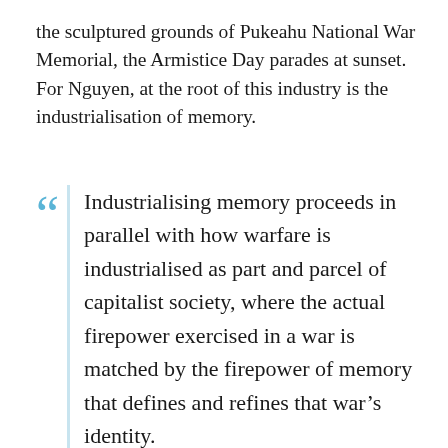the sculptured grounds of Pukeahu National War Memorial, the Armistice Day parades at sunset. For Nguyen, at the root of this industry is the industrialisation of memory.
Industrialising memory proceeds in parallel with how warfare is industrialised as part and parcel of capitalist society, where the actual firepower exercised in a war is matched by the firepower of memory that defines and refines that war's identity.